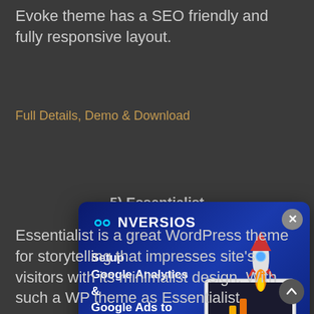Evoke theme has a SEO friendly and fully responsive layout.
Full Details, Demo & Download
5) Essentialist
[Figure (screenshot): CONVERSIOS advertisement popup overlay. Dark blue/navy gradient background with CONVERSIOS logo at top left (infinity symbol + text). Headline: 'Setup Google Analytics & Google Ads to Scale Faster'. Right side shows a computer monitor with rocket launching, Google Analytics and Google Ads logos. Blue 'Try Now >>' button at bottom left. Gray X close button at top right.]
Essentialist is a great WordPress theme for storytelling that impresses site's visitors with its minimalist design. With such a WP theme as Essentialist